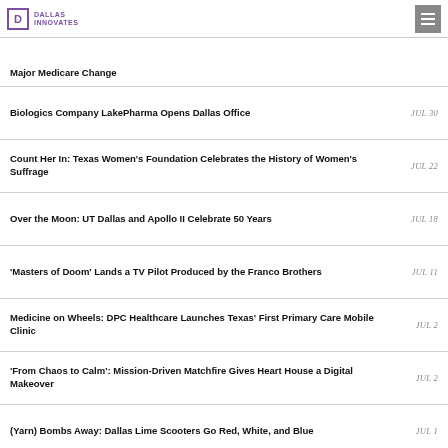Dallas Innovates
Major Medicare Change
Biologics Company LakePharma Opens Dallas Office — JUL 30
Count Her In: Texas Women's Foundation Celebrates the History of Women's Suffrage — JUL 22
Over the Moon: UT Dallas and Apollo II Celebrate 50 Years — JUL 18
'Masters of Doom' Lands a TV Pilot Produced by the Franco Brothers — JUL 11
Medicine on Wheels: DPC Healthcare Launches Texas' First Primary Care Mobile Clinic — JUL 2
'From Chaos to Calm': Mission-Driven Matchfire Gives Heart House a Digital Makeover — JUL 2
(Yarn) Bombs Away: Dallas Lime Scooters Go Red, White, and Blue — JUL 1
'Vision for Life': Richardson Startup Evergaze Chosen for National MedTech Program — JUN 26